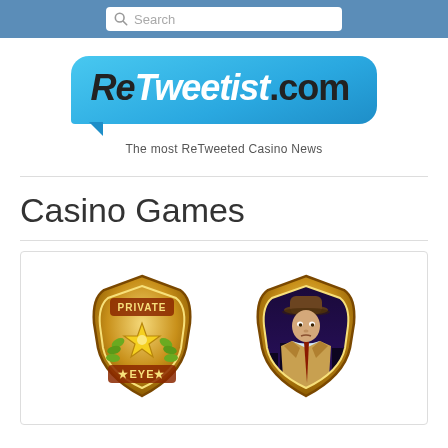Search
[Figure (logo): ReTweetist.com logo — blue speech bubble with bold italic text 'ReTweetist.com' and tagline 'The most ReTweeted Casino News']
Casino Games
[Figure (illustration): Two Private Eye casino game badge icons: left is a gold detective badge with star and text 'PRIVATE EYE'; right is a gold shield badge with a detective character in hat and coat]